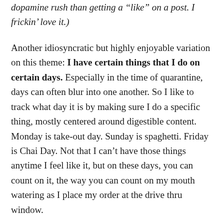dopamine rush than getting a “like” on a post. I frickin’ love it.)
Another idiosyncratic but highly enjoyable variation on this theme: I have certain things that I do on certain days. Especially in the time of quarantine, days can often blur into one another. So I like to track what day it is by making sure I do a specific thing, mostly centered around digestible content. Monday is take-out day. Sunday is spaghetti. Friday is Chai Day. Not that I can’t have those things anytime I feel like it, but on these days, you can count on it, the way you can count on my mouth watering as I place my order at the drive thru window.
All of this is to say, I’ve been a student of happiness for